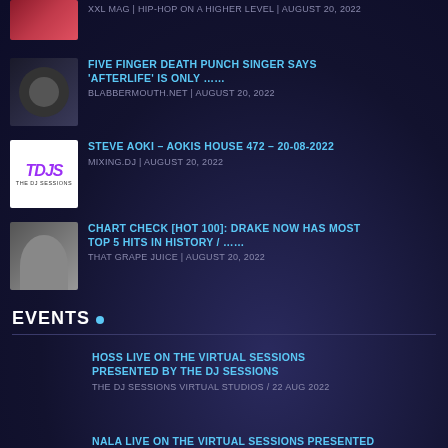XXL MAG | HIP-HOP ON A HIGHER LEVEL | AUGUST 20, 2022
FIVE FINGER DEATH PUNCH SINGER SAYS 'AFTERLIFE' IS ONLY …… | BLABBERMOUTH.NET | AUGUST 20, 2022
STEVE AOKI – AOKIS HOUSE 472 – 20-08-2022 | MIXING.DJ | AUGUST 20, 2022
CHART CHECK [HOT 100]: DRAKE NOW HAS MOST TOP 5 HITS IN HISTORY / …… | THAT GRAPE JUICE | AUGUST 20, 2022
EVENTS
HOSS LIVE ON THE VIRTUAL SESSIONS PRESENTED BY THE DJ SESSIONS | THE DJ SESSIONS VIRTUAL STUDIOS / 22 AUG 2022
NALA LIVE ON THE VIRTUAL SESSIONS PRESENTED BY THE DJ SESSIONS | THE DJ SESSIONS VIRTUAL STUDIOS / 23 AUG 2022